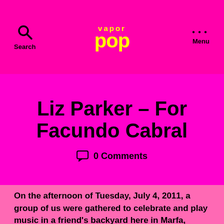Search | vapor pop | Menu
Liz Parker – For Facundo Cabral
0 Comments
On the afternoon of Tuesday, July 4, 2011, a group of us were gathered to celebrate and play music in a friend's backyard here in Marfa, Texas. One of my friends played a song called No Soy De Aqui, by Facundo Cabral, and